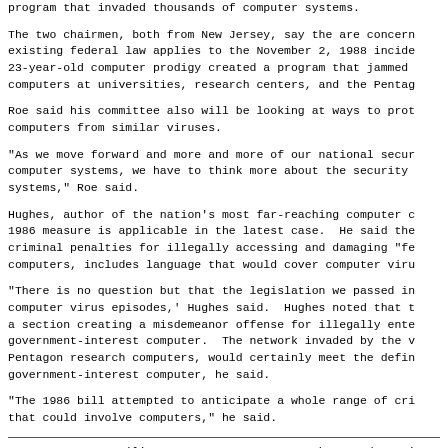program that invaded thousands of computer systems.
The two chairmen, both from New Jersey, say the are concerned existing federal law applies to the November 2, 1988 incident. A 23-year-old computer prodigy created a program that jammed computers at universities, research centers, and the Pentagon.
Roe said his committee also will be looking at ways to protect computers from similar viruses.
"As we move forward and more and more of our national security computer systems, we have to think more about the security of systems," Roe said.
Hughes, author of the nation's most far-reaching computer crime 1986 measure is applicable in the latest case. He said the criminal penalties for illegally accessing and damaging "federal computers, includes language that would cover computer viruses.
"There is no question but that the legislation we passed in computer virus episodes,' Hughes said. Hughes noted that the a section creating a misdemeanor offense for illegally entering government-interest computer. The network invaded by the worm, Pentagon research computers, would certainly meet the definition government-interest computer, he said.
"The 1986 bill attempted to anticipate a whole range of criminal that could involve computers," he said.
Pentagon Severs Military Computer From Network Jammed By Vi
By John Markoff, (New York Times)